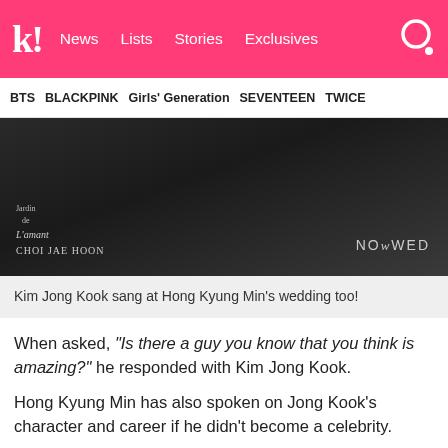k! News  Lists  Stories  Exclusives
BTS  BLACKPINK  Girls' Generation  SEVENTEEN  TWICE
[Figure (photo): Dark photo of people at a wedding venue with overlaid text: 'Jardin de L'amant CHOI JAE HOON' and 'NOWWED' logo]
Kim Jong Kook sang at Hong Kyung Min's wedding too!
When asked, "Is there a guy you know that you think is amazing?" he responded with Kim Jong Kook.
Hong Kyung Min has also spoken on Jong Kook's character and career if he didn't become a celebrity.